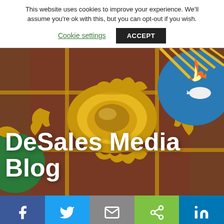This website uses cookies to improve your experience. We'll assume you're ok with this, but you can opt-out if you wish.
Cookie settings
ACCEPT
[Figure (photo): Ornate gilded ceiling decoration with colorful painted elements including a sun motif, blue circular medallion with white dove, and elaborate gold scrollwork against a warm brown/terracotta background.]
DeSales Media Blog
[Figure (infographic): Social sharing bar with five buttons: Facebook (dark blue), Twitter (light blue), Email (gray), Share (green), LinkedIn (teal blue)]